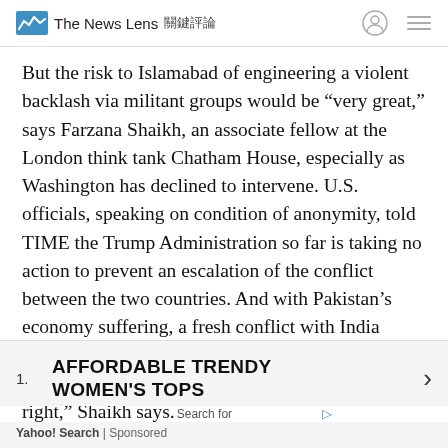The News Lens 關鍵評論
But the risk to Islamabad of engineering a violent backlash via militant groups would be “very great,” says Farzana Shaikh, an associate fellow at the London think tank Chatham House, especially as Washington has declined to intervene. U.S. officials, speaking on condition of anonymity, told TIME the Trump Administration so far is taking no action to prevent an escalation of the conflict between the two countries. And with Pakistan’s economy suffering, a fresh conflict with India could derail its attempts to repair relations with the West. “India in many ways has played its cards just right,” Shaikh says.
1. AFFORDABLE TRENDY WOMEN'S TOPS ›
Yahoo! Search | Sponsored